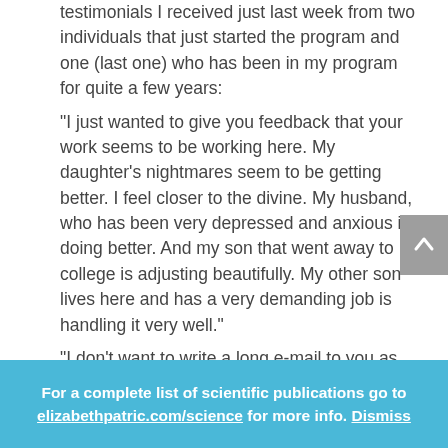testimonials I received just last week from two individuals that just started the program and one (last one) who has been in my program for quite a few years: “I just wanted to give you feedback that your work seems to be working here. My daughter’s nightmares seem to be getting better. I feel closer to the divine. My husband, who has been very depressed and anxious is doing better. And my son that went away to college is adjusting beautifully. My other son lives here and has a very demanding job is handling it very well.” “I don’t want to write a long e-mail to you as you are, I am sure, very busy and e-mails are very time consuming. I just wanted to mention that my husband is rapidly recovering and ready to
For a complete list of scientific publications go to elizabethpatric.com/science for more info. Dismiss